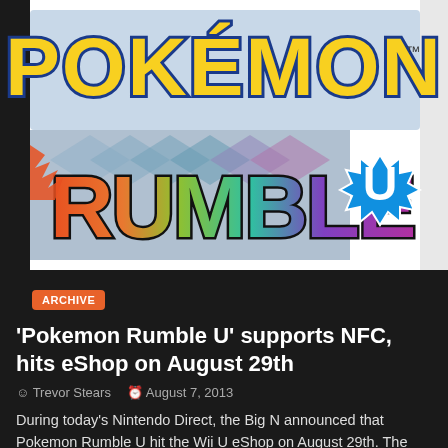[Figure (illustration): Pokemon Rumble U logo — 'POKEMON' in yellow letters with blue outline on top, 'RUMBLE' in colorful letters (orange, green, teal, purple) below, and a blue starburst with white 'U' on the right]
ARCHIVE
'Pokemon Rumble U' supports NFC, hits eShop on August 29th
Trevor Stears   August 7, 2013
During today's Nintendo Direct, the Big N announced that Pokemon Rumble U hit the Wii U eShop on August 29th. The footage they showed gave the impression that it's a 4-player co-op action game